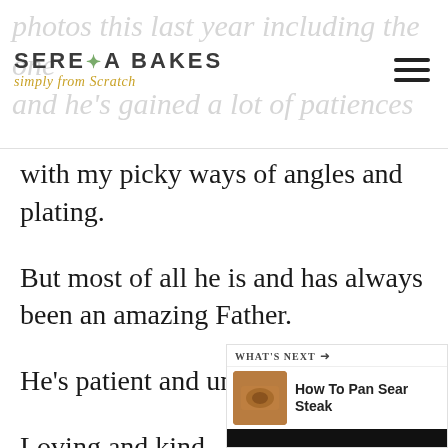Serena Bakes – simply from scratch
photos this last year including the one and he's gained a lot of patiences with my picky ways of angles and plating.
But most of all he is and has always been an amazing Father.
He's patient and understanding.
Loving and kind.
[Figure (infographic): What's Next widget showing 'How To Pan Sear Steak' with thumbnail image]